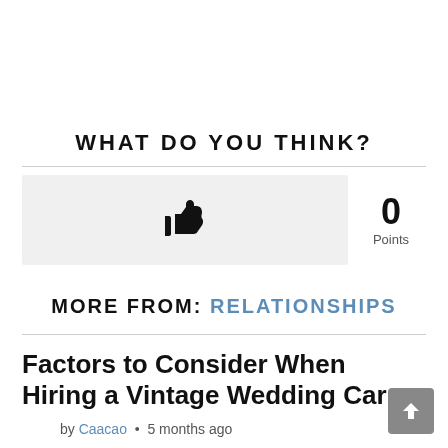WHAT DO YOU THINK?
[Figure (infographic): Thumbs up (like) button with 0 Points displayed to the right]
MORE FROM: RELATIONSHIPS
Factors to Consider When Hiring a Vintage Wedding Car
by Caacao • 5 months ago